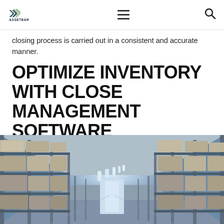ASSETBAR [navigation header with logo, hamburger menu, search icon]
closing process is carried out in a consistent and accurate manner.
OPTIMIZE INVENTORY WITH CLOSE MANAGEMENT SOFTWARE
[Figure (photo): Interior of a large warehouse with long aisles lined with tall metal shelving units stacked with boxes and cardboard packages, perspective view toward a bright end wall with overhead lighting.]